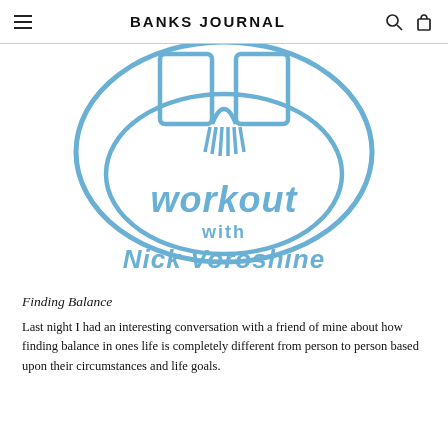BANKS JOURNAL
[Figure (illustration): Hand-drawn illustration in blue ink showing a figure (torso/arms) gripping something, surrounded by a circular ring. Below reads 'workout with Nick Voroshine' in hand-lettered blue text.]
Finding Balance
Last night I had an interesting conversation with a friend of mine about how finding balance in ones life is completely different from person to person based upon their circumstances and life goals.